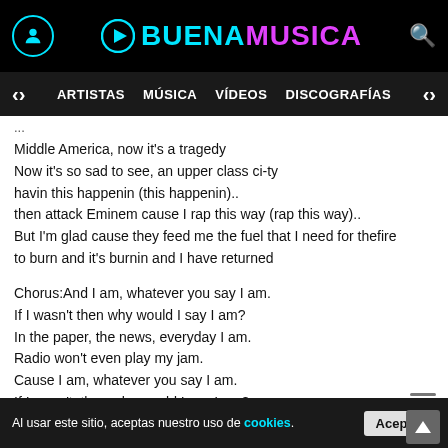BUENAMUSICA — ARTISTAS MÚSICA VÍDEOS DISCOGRAFÍAS
Middle America, now it's a tragedy
Now it's so sad to see, an upper class ci-ty
havin this happenin (this happenin)..
then attack Eminem cause I rap this way (rap this way)..
But I'm glad cause they feed me the fuel that I need for thefire
to burn and it's burnin and I have returned

Chorus:And I am, whatever you say I am.
If I wasn't then why would I say I am?
In the paper, the news, everyday I am.
Radio won't even play my jam.
Cause I am, whatever you say I am.
If I wasn't, then why would I say I am?
In the paper, the news, everyday I am.
I don't know, it's just the way I am.
Al usar este sitio, aceptas nuestro uso de cookies. Aceptar